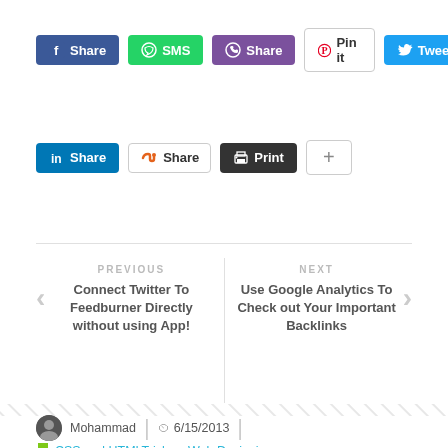[Figure (screenshot): Social sharing buttons row 1: Facebook Share (blue), SMS (green), Viber Share (purple), Pinterest Pin it (white/outlined), Twitter Tweet (blue)]
[Figure (screenshot): Social sharing buttons row 2: LinkedIn Share (blue), StumbleUpon Share (white/outlined), Print (black), Plus/more button (white/outlined)]
PREVIOUS
Connect Twitter To Feedburner Directly without using App!
NEXT
Use Google Analytics To Check out Your Important Backlinks
Mohammad   6/15/2013
CSS and HTMLTricks , Web Designing